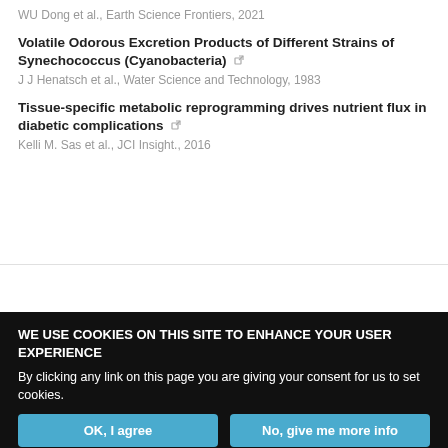WU Dong et al., Earth Science Frontiers, 2021
Volatile Odorous Excretion Products of Different Strains of Synechococcus (Cyanobacteria)
J J Henatsch et al., Water Science and Technology, 1983
Tissue-specific metabolic reprogramming drives nutrient flux in diabetic complications
Kelli M. Sas et al., JCI Insight., 2016
[Figure (logo): Powered by TRENDMD logo with gear icon]
WE USE COOKIES ON THIS SITE TO ENHANCE YOUR USER EXPERIENCE
By clicking any link on this page you are giving your consent for us to set cookies.
OK, I agree | No, give me more info